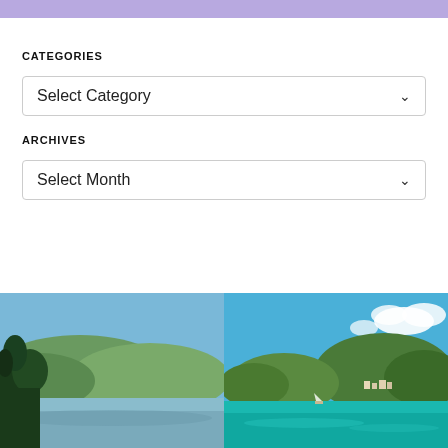CATEGORIES
Select Category
ARCHIVES
Select Month
[Figure (photo): Two side-by-side landscape photos: left shows a calm lake with forested hills and pine trees in the foreground under a blue sky; right shows a tropical bay with turquoise water, island with buildings, and clouds.]